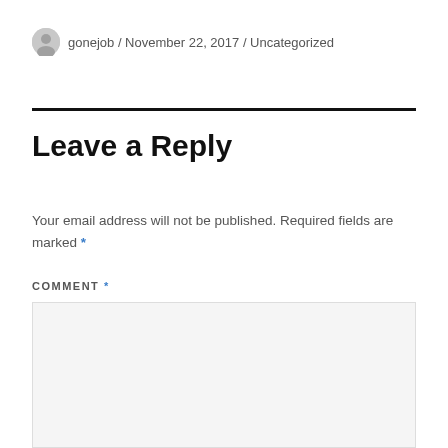gonejob / November 22, 2017 / Uncategorized
Leave a Reply
Your email address will not be published. Required fields are marked *
COMMENT *